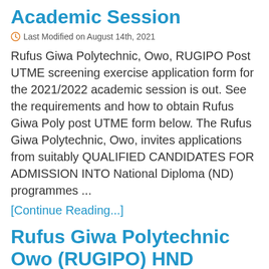Academic Session
Last Modified on August 14th, 2021
Rufus Giwa Polytechnic, Owo, RUGIPO Post UTME screening exercise application form for the 2021/2022 academic session is out. See the requirements and how to obtain Rufus Giwa Poly post UTME form below. The Rufus Giwa Polytechnic, Owo, invites applications from suitably QUALIFIED CANDIDATES FOR ADMISSION INTO National Diploma (ND) programmes ...
[Continue Reading...]
Rufus Giwa Polytechnic Owo (RUGIPO) HND Admission Form for 2021/2022 Academic